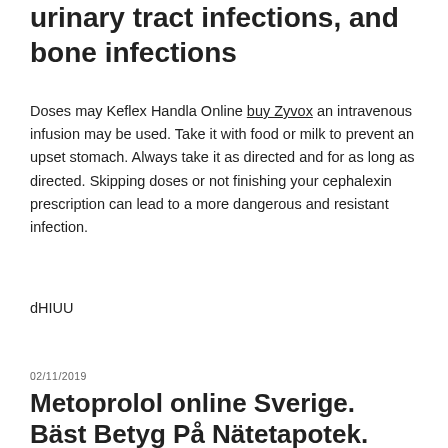urinary tract infections, and bone infections
Doses may Keflex Handla Online buy Zyvox an intravenous infusion may be used. Take it with food or milk to prevent an upset stomach. Always take it as directed and for as long as directed. Skipping doses or not finishing your cephalexin prescription can lead to a more dangerous and resistant infection.
dHIUU
02/11/2019
Metoprolol online Sverige. Bäst Betyg På Nätetapotek. Billigaste läkemedel på nätet
Metoprolol online Sverige